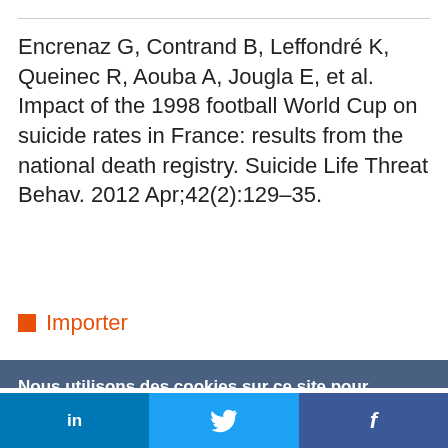Encrenaz G, Contrand B, Leffondré K, Queinec R, Aouba A, Jougla E, et al. Impact of the 1998 football World Cup on suicide rates in France: results from the national death registry. Suicide Life Threat Behav. 2012 Apr;42(2):129–35.
Importer
Nous utilisons des cookies sur ce site pour améliorer votre expérience d'utilisateur.
En cliquant sur un lien de cette page, vous nous donnez votre consentement de définir des cookies.
Oui, je suis d'accord
Plus d'infos
in  f